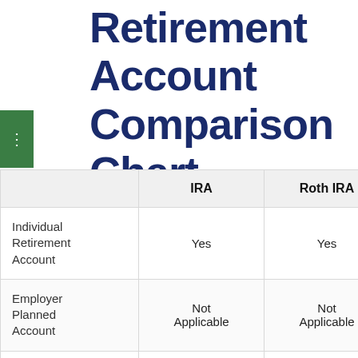Retirement Account Comparison Chart
|  | IRA | Roth IRA | 401k |
| --- | --- | --- | --- |
| Individual Retirement Account | Yes | Yes |  |
| Employer Planned Account | Not Applicable | Not Applicable | Available |
| Pre-taxable | Yes | No | Yes |